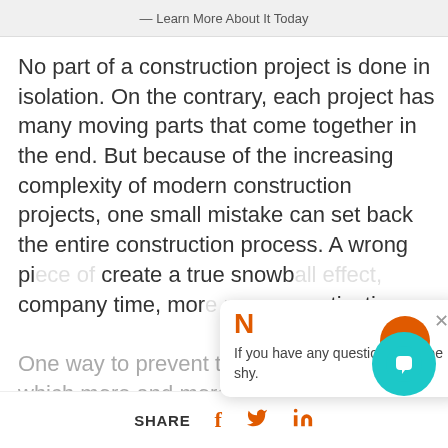— Learn More About It Today
No part of a construction project is done in isolation. On the contrary, each project has many moving parts that come together in the end. But because of the increasing complexity of modern construction projects, one small mistake can set back the entire construction process. A wrong pi[ece can] create a true snowb[all effect, costing the] company time, mor[e money, and employee] motivation.
One way to prevent that from happening[, which is] which more and more construction manage[rs are using,]
[Figure (screenshot): Chat popup widget with orange 'N' logo, close button, and message: 'If you have any question, don't be shy.']
SHARE  f  [Twitter bird]  in